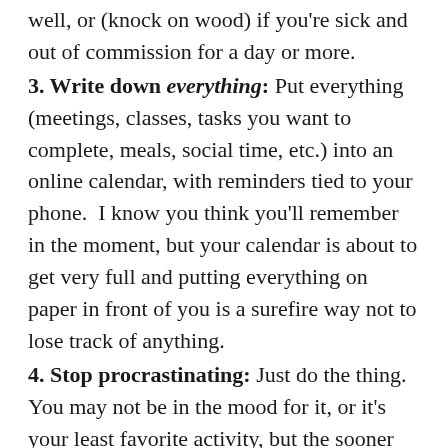well, or (knock on wood) if you're sick and out of commission for a day or more.
3. Write down everything: Put everything (meetings, classes, tasks you want to complete, meals, social time, etc.) into an online calendar, with reminders tied to your phone.  I know you think you'll remember in the moment, but your calendar is about to get very full and putting everything on paper in front of you is a surefire way not to lose track of anything.
4. Stop procrastinating: Just do the thing.  You may not be in the mood for it, or it's your least favorite activity, but the sooner you do it, the